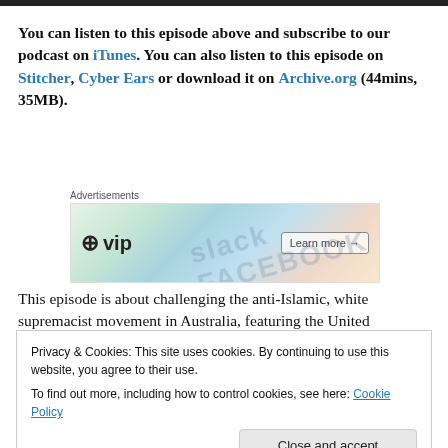You can listen to this episode above and subscribe to our podcast on iTunes. You can also listen to this episode on Stitcher, Cyber Ears or download it on Archive.org (44mins, 35MB).
[Figure (other): WordPress VIP advertisement banner with colorful background showing social media app icons and a 'Learn more' button]
This episode is about challenging the anti-Islamic, white supremacist movement in Australia, featuring the United
Privacy & Cookies: This site uses cookies. By continuing to use this website, you agree to their use. To find out more, including how to control cookies, see here: Cookie Policy
This pic of a #ReclaimAustralia rally was